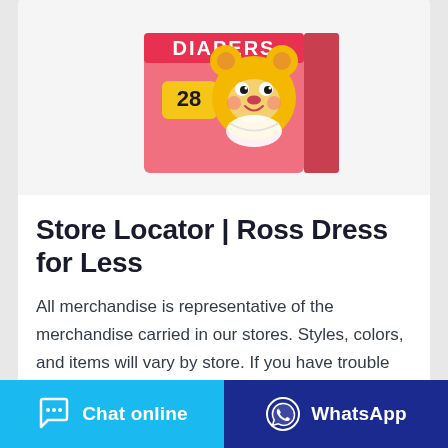[Figure (photo): Product image of a diaper package — pink box labeled 'DIAPERS' with count 28, featuring a cartoon bear mascot character; shown against white background]
Store Locator | Ross Dress for Less
All merchandise is representative of the merchandise carried in our stores. Styles, colors, and items will vary by store. If you have trouble accessing this website, please call 800-335-1115
...
[Figure (screenshot): Cyan circular chat bubble button with three dots (ellipsis) icon, positioned at bottom-right of the content card]
[Figure (screenshot): Bottom action bar with two buttons: 'Chat online' (cyan/light blue with chat icon) on the left, and 'WhatsApp' (dark blue with WhatsApp icon) on the right]